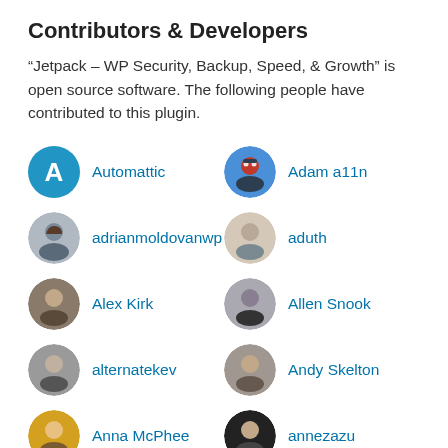Contributors & Developers
“Jetpack – WP Security, Backup, Speed, & Growth” is open source software. The following people have contributed to this plugin.
Automattic
Adam a11n
adrianmoldovanwp
aduth
Alex Kirk
Allen Snook
alternatekev
Andy Skelton
Anna McPhee
annezazu
Andy Peatling
arcangelini
Andrew Ozz
Mohammad Jangda